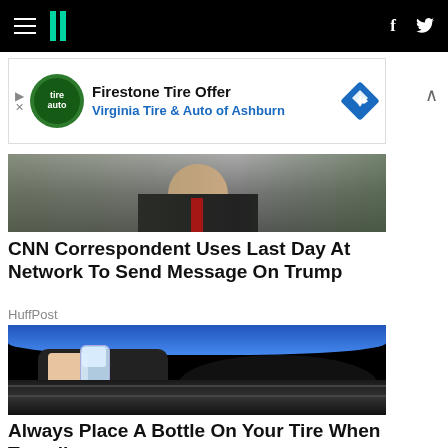HuffPost navigation bar with hamburger menu, logo, Facebook and Twitter icons
[Figure (other): Firestone Tire Offer advertisement banner — Virginia Tire & Auto of Ashburn]
[Figure (photo): Partially visible photo of a man in a dark suit with red tie]
CNN Correspondent Uses Last Day At Network To Send Message On Trump
HuffPost
[Figure (photo): A hand holding a water bottle (Пилигрим brand, Russian water) pressed against a car tire, close-up view]
Always Place A Bottle On Your Tire When Traveli…